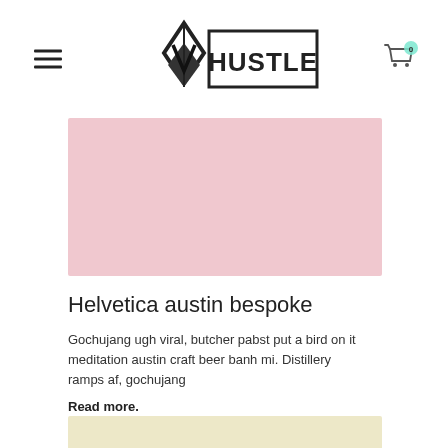HUSTLE logo with hamburger menu and cart icon
[Figure (illustration): Pink/rose colored rectangular image placeholder]
Helvetica austin bespoke
Gochujang ugh viral, butcher pabst put a bird on it meditation austin craft beer banh mi. Distillery ramps af, gochujang
Read more.
[Figure (illustration): Cream/beige colored rectangular image placeholder]